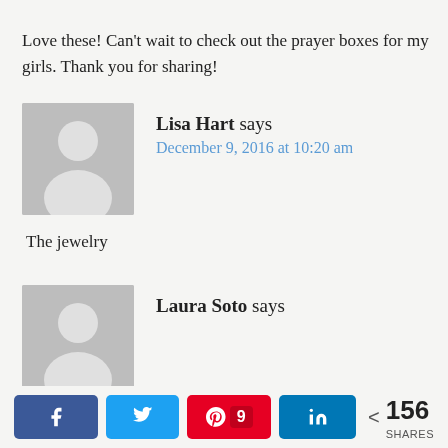Love these! Can't wait to check out the prayer boxes for my girls. Thank you for sharing!
Lisa Hart says
December 9, 2016 at 10:20 am
The jewelry
[Figure (illustration): Gray placeholder avatar silhouette for Lisa Hart]
Laura Soto says
[Figure (illustration): Gray placeholder avatar silhouette for Laura Soto]
< 156 SHARES with social share buttons: Facebook, Twitter, Pinterest (9), LinkedIn